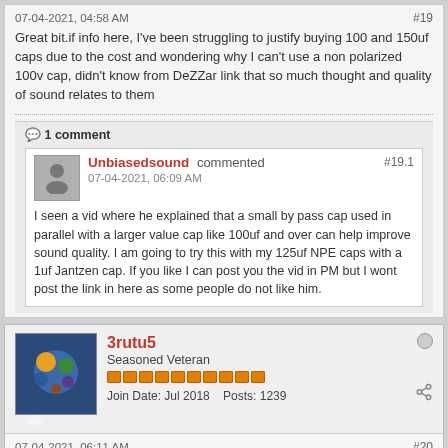07-04-2021, 04:58 AM
#19
Great bit.if info here, I've been struggling to justify buying 100 and 150uf caps due to the cost and wondering why I can't use a non polarized 100v cap, didn't know from DeZZar link that so much thought and quality of sound relates to them
1 comment
Unbiasedsound commented
07-04-2021, 06:09 AM
#19.1
I seen a vid where he explained that a small by pass cap used in parallel with a larger value cap like 100uf and over can help improve sound quality. I am going to try this with my 125uf NPE caps with a 1uf Jantzen cap. If you like I can post you the vid in PM but I wont post the link in here as some people do not like him.
3rutu5
Seasoned Veteran
Join Date: Jul 2018   Posts: 1239
07-04-2021, 06:11 AM
#20